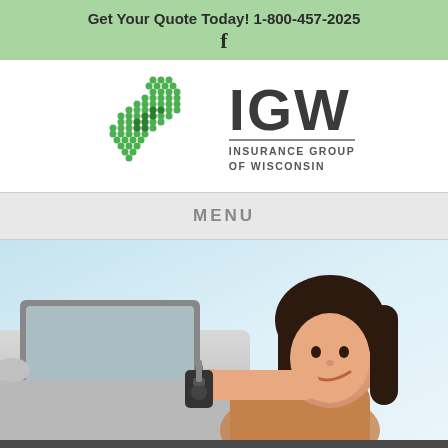Get Your Quote Today! 1-800-457-2025
[Figure (logo): IGW Insurance Group of Wisconsin logo with Wisconsin state map made of green dots and IGW text]
MENU
[Figure (photo): Young woman smiling and holding car keys out of a car window]